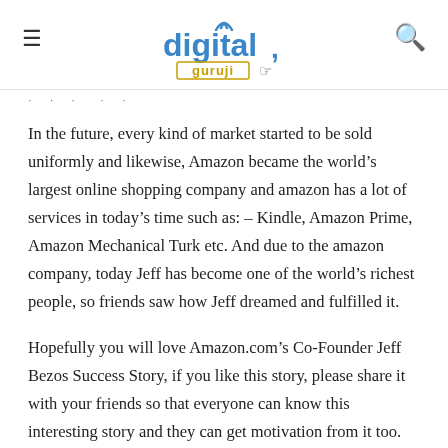digital guruji [logo]
In the future, every kind of market started to be sold uniformly and likewise, Amazon became the world’s largest online shopping company and amazon has a lot of services in today’s time such as: – Kindle, Amazon Prime, Amazon Mechanical Turk etc. And due to the amazon company, today Jeff has become one of the world’s richest people, so friends saw how Jeff dreamed and fulfilled it.
Hopefully you will love Amazon.com’s Co-Founder Jeff Bezos Success Story, if you like this story, please share it with your friends so that everyone can know this interesting story and they can get motivation from it too.
Digital Guruji will continue to bring you daily new-new interactive